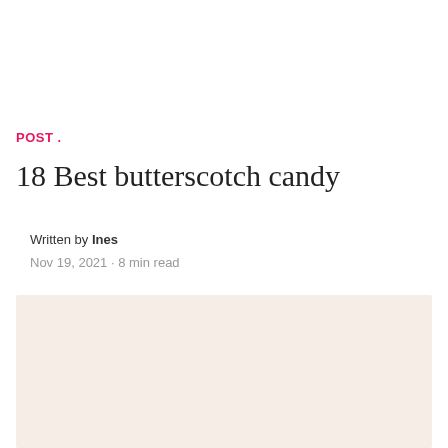POST .
18 Best butterscotch candy
Written by Ines
Nov 19, 2021 · 8 min read
[Figure (photo): Light cream/beige colored background image, partially visible at the bottom of the page]